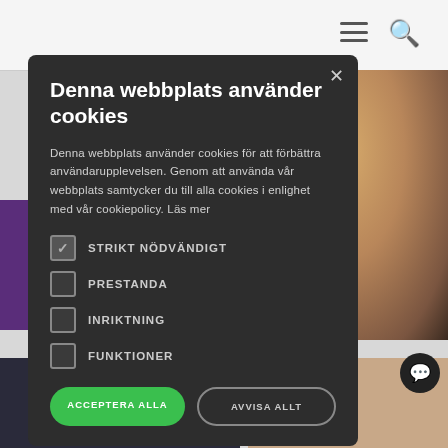[Figure (screenshot): Website background showing top navigation bar with hamburger menu and green search icon, a photo of a smiling man, and partial page content visible behind a cookie consent modal.]
Denna webbplats använder cookies
Denna webbplats använder cookies för att förbättra användarupplevelsen. Genom att använda vår webbplats samtycker du till alla cookies i enlighet med vår cookiepolicy. Läs mer
STRIKT NÖDVÄNDIGT (checked)
PRESTANDA
INRIKTNING
FUNKTIONER
ACCEPTERA ALLA
AVVISA ALLT